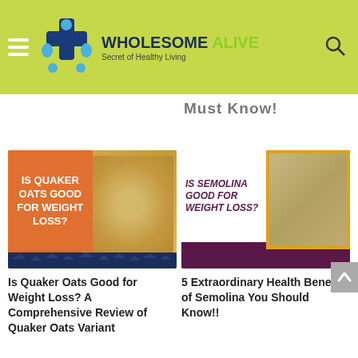WHOLESOME ALIVE — Secret of Healthy Living
Must Know!
[Figure (photo): Article thumbnail: Is Quaker Oats Good for Weight Loss? Orange panel with white bold text on left, oats photo on right, dark blue house silhouettes at bottom]
Is Quaker Oats Good for Weight Loss? A Comprehensive Review of Quaker Oats Variant
[Figure (photo): Article thumbnail: Is Semolina Good for Weight Loss? White panel with purple bold italic text on left, semolina in bowl photo on right with gold border, dark purple background]
5 Extraordinary Health Benefits of Semolina You Should Know!!